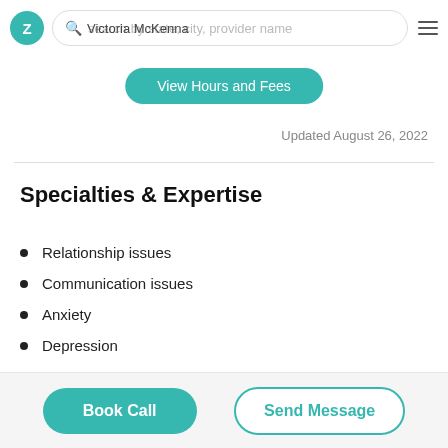Victoria McKenna — search by state, city, provider name
View Hours and Fees
Updated August 26, 2022
Specialties & Expertise
Relationship issues
Communication issues
Anxiety
Depression
Book Call   Send Message